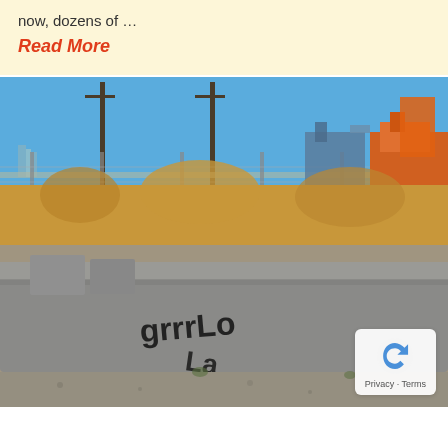now, dozens of …
Read More
[Figure (photo): Outdoor photo showing concrete barrier blocks with graffiti in the foreground, dry golden grass behind them, a chain-link fence with barbed wire, utility poles, buildings and blue sky in the background, and construction equipment visible on the right side. A reCAPTCHA privacy badge appears in the bottom-right corner.]